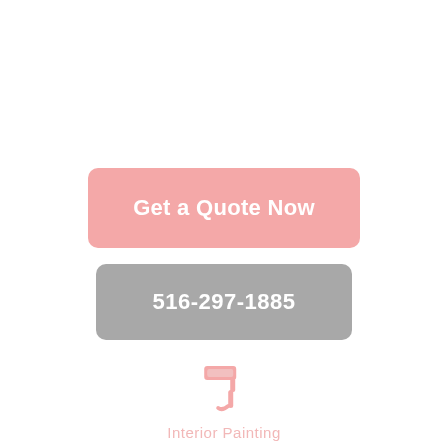Get a Quote Now
516-297-1885
[Figure (logo): Paint roller icon in light pink color]
Interior Painting